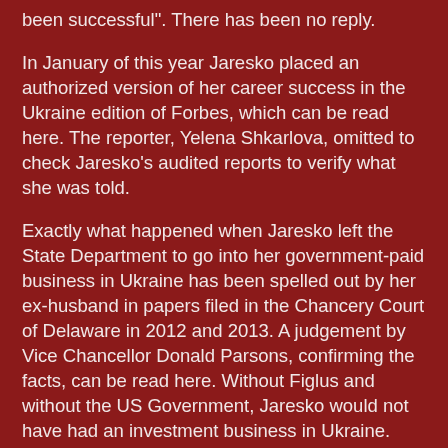been successful". There has been no reply.
In January of this year Jaresko placed an authorized version of her career success in the Ukraine edition of Forbes, which can be read here. The reporter, Yelena Shkarlova, omitted to check Jaresko’s audited reports to verify what she was told.
Exactly what happened when Jaresko left the State Department to go into her government-paid business in Ukraine has been spelled out by her ex-husband in papers filed in the Chancery Court of Delaware in 2012 and 2013. A judgement by Vice Chancellor Donald Parsons, confirming the facts, can be read here. Without Figlus and without the US Government, Jaresko would not have had an investment business in Ukraine. The money to finance the business,and their partnership stakes, turns out to have been loaned to Figlus and Jaresko from Washington.
According to the judge, “Plaintiff Emerging Europe Growth Fund, L.P. (“EEGF”or the “Partnership”) is a Delaware limited partnership formed to make equity and debt financing investments in privately held companies in Ukraine and